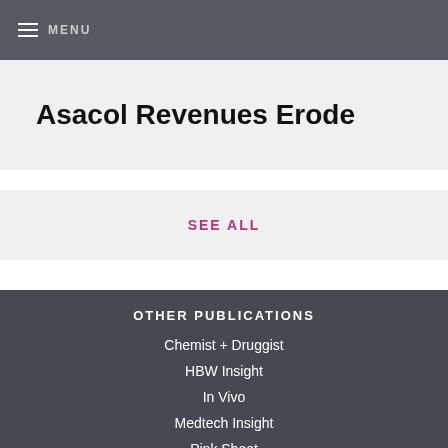MENU
Asacol Revenues Erode
SEE ALL
OTHER PUBLICATIONS
Chemist + Druggist
HBW Insight
In Vivo
Medtech Insight
Pink Sheet